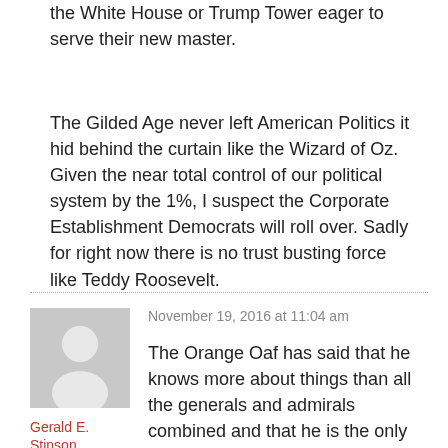the White House or Trump Tower eager to serve their new master.
The Gilded Age never left American Politics it hid behind the curtain like the Wizard of Oz. Given the near total control of our political system by the 1%, I suspect the Corporate Establishment Democrats will roll over. Sadly for right now there is no trust busting force like Teddy Roosevelt.
[Figure (illustration): Default user avatar — grey silhouette of a person on a light grey background]
Gerald E. Stinson
November 19, 2016 at 11:04 am
The Orange Oaf has said that he knows more about things than all the generals and admirals combined and that he is the only one in the world who can fix this or that. If so, why is he in need of any advisors at all